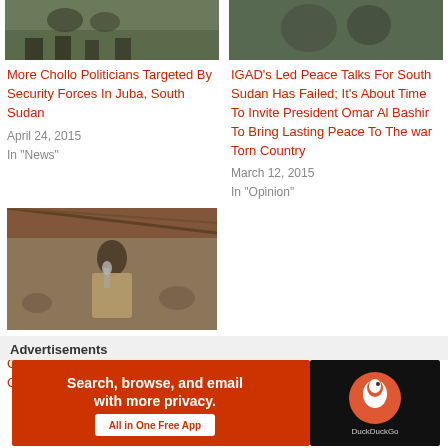[Figure (photo): Thumbnail image of soldiers/security forces feet/boots on ground]
More Chollo Politicians Targeted By Security Forces In Juba, South Sudan
April 24, 2015
In "News"
[Figure (photo): Thumbnail image of men in military/camouflage, group scene]
IGAD's Led Peace Talks For South Sudan Has Failed; It's About Time To Invite President Omar Al Bashir To Bring Lasting Peace To The war Torn Country
March 12, 2015
In "Opinion"
[Figure (photo): Man in suit speaking into microphone at outdoor gathering under a roof structure]
"Dinka Leaders and Their Community Have Failed Our Country" – WES Governor!
Advertisements
[Figure (screenshot): DuckDuckGo advertisement banner: Search, browse, and email with more privacy. All in One Free App]